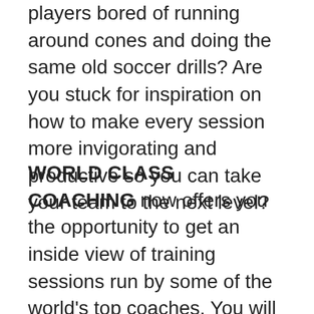players bored of running around cones and doing the same old soccer drills? Are you stuck for inspiration on how to make every session more invigorating and productive so you can take your team to the next level?
WORLD CLASS COACHING now offers you the opportunity to get an inside view of training sessions run by some of the world's top coaches. You will be able to get new ideas and see the very latest innovative soccer drill techniques in action as they are used by some